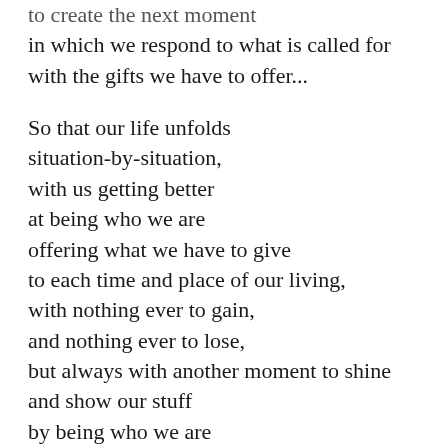to create the next moment in which we respond to what is called for with the gifts we have to offer...

So that our life unfolds situation-by-situation, with us getting better at being who we are offering what we have to give to each time and place of our living, with nothing ever to gain, and nothing ever to lose, but always with another moment to shine and show our stuff by being who we are to the best of our ability just for the hell of it,